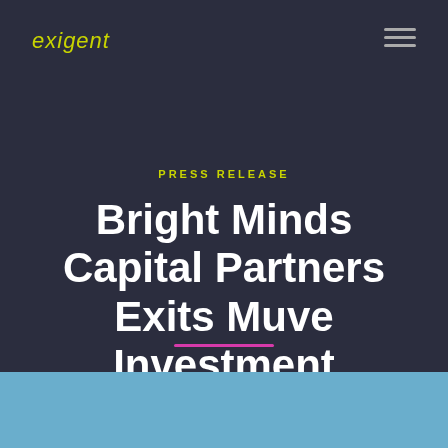exigent
PRESS RELEASE
Bright Minds Capital Partners Exits Muve Investment